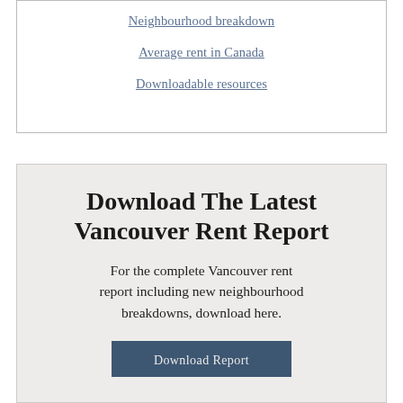Neighbourhood breakdown
Average rent in Canada
Downloadable resources
Download The Latest Vancouver Rent Report
For the complete Vancouver rent report including new neighbourhood breakdowns, download here.
Download Report